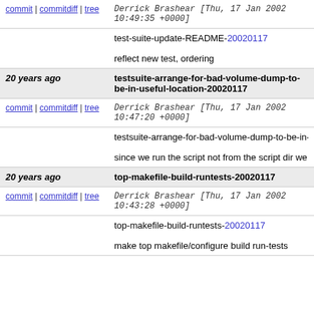commit | commitdiff | tree   Derrick Brashear [Thu, 17 Jan 2002 10:49:35 +0000]
test-suite-update-README-20020117

reflect new test, ordering
20 years ago   testsuite-arrange-for-bad-volume-dump-to-be-in-useful-location-20020117
commit | commitdiff | tree   Derrick Brashear [Thu, 17 Jan 2002 10:47:20 +0000]
testsuite-arrange-for-bad-volume-dump-to-be-in-useful-location-20020117

since we run the script not from the script dir we n
20 years ago   top-makefile-build-runtests-20020117
commit | commitdiff | tree   Derrick Brashear [Thu, 17 Jan 2002 10:43:28 +0000]
top-makefile-build-runtests-20020117

make top makefile/configure build run-tests